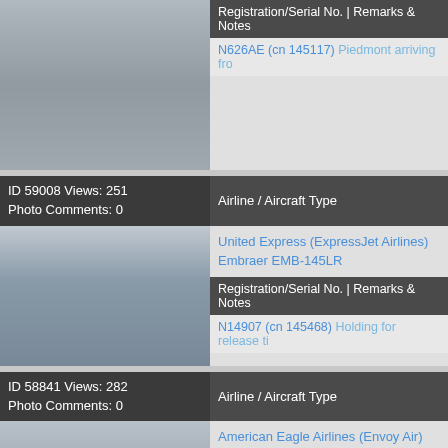[Figure (photo): Partial view of aircraft on snowy tarmac, top of page]
N626AE (cn 145117) Piedmont arriving fro...
ID 59008 Views: 251
Photo Comments: 0
Airline / Aircraft Type
[Figure (photo): United Express aircraft on snowy tarmac with airport terminal in background and Southwest aircraft visible]
United Express (ExpressJet Airlines)
Embraer EMB-145LR
Registration/Serial No. | Remarks & Notes
N14907 (cn 145468) Holding for release ti...
ID 58841 Views: 282
Photo Comments: 0
Airline / Aircraft Type
[Figure (photo): American Eagle Airlines aircraft on tarmac, partial view at bottom of page]
American Eagle Airlines (Envoy Air)
Embraer EMB-145LR
Registration/Serial No. | Remarks & Notes
N656AE (cn 145740)